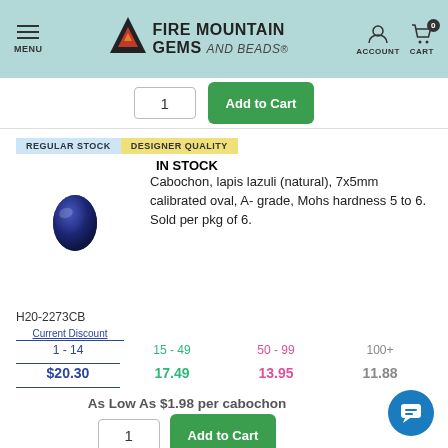Fire Mountain Gems and Beads — MENU | ACCOUNT | CART 0
1  Add to Cart
REGULAR STOCK   DESIGNER QUALITY
IN STOCK
[Figure (photo): Small oval lapis lazuli cabochon gemstone, dark blue color, 7x5mm]
Cabochon, lapis lazuli (natural), 7x5mm calibrated oval, A- grade, Mohs hardness 5 to 6. Sold per pkg of 6.
H20-2273CB
| Current Discount | 15 - 49 | 50 - 99 | 100+ |
| --- | --- | --- | --- |
| 1 - 14 | 15 - 49 | 50 - 99 | 100+ |
| $20.30 | 17.49 | 13.95 | 11.88 |
As Low As $1.98 per cabochon
1  Add to Cart